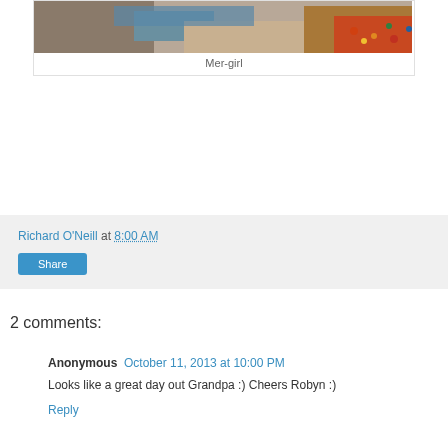[Figure (photo): Partial photo of a rocky shoreline with colorful pebbles and water]
Mer-girl
Richard O'Neill at 8:00 AM
Share
2 comments:
Anonymous October 11, 2013 at 10:00 PM
Looks like a great day out Grandpa :) Cheers Robyn :)
Reply